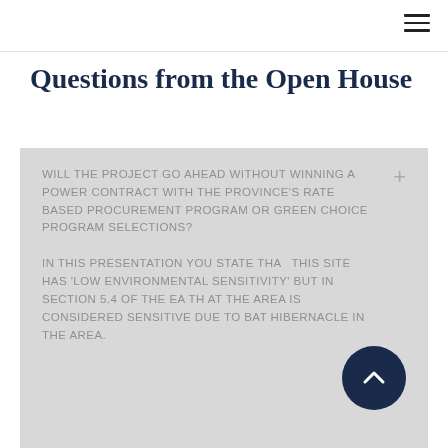≡
Questions from the Open House
WILL THE PROJECT GO AHEAD WITHOUT WINNING A POWER CONTRACT WITH THE PROVINCE'S RATE BASED PROCUREMENT PROGRAM OR GREEN CHOICE PROGRAM SELECTIONS?
IN THIS PRESENTATION YOU STATE THAT THIS SITE HAS 'LOW ENVIRONMENTAL SENSITIVITY' BUT IN SECTION 5.4 OF THE EA TH AT THE AREA IS CONSIDERED SENSITIVE DUE TO BAT HIBERNACLE IN THE AREA.